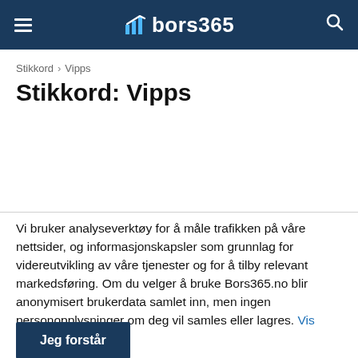≡  bors365  🔍
Stikkord › Vipps
Stikkord: Vipps
Vi bruker analyseverktøy for å måle trafikken på våre nettsider, og informasjonskapsler som grunnlag for videreutvikling av våre tjenester og for å tilby relevant markedsføring. Om du velger å bruke Bors365.no blir anonymisert brukerdata samlet inn, men ingen personopplysninger om deg vil samles eller lagres. Vis meg mer.
Jeg forstår